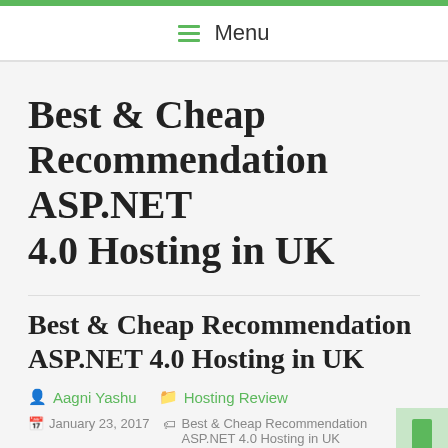Menu
Best & Cheap Recommendation ASP.NET 4.0 Hosting in UK
Best & Cheap Recommendation ASP.NET 4.0 Hosting in UK
Aagni Yashu   Hosting Review
January 23, 2017   Best & Cheap Recommendation ASP.NET 4.0 Hosting in UK